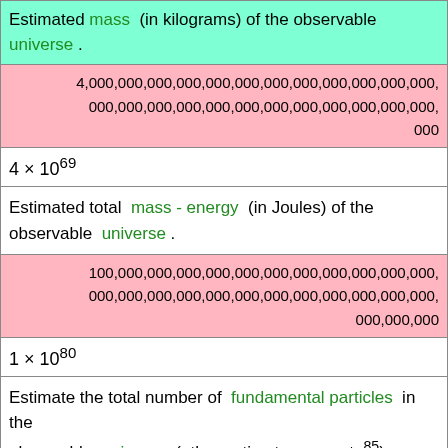Estimated mass (in kilograms) of the observable universe .
4,000,000,000,000,000,000,000,000,000,000,000,000,000,000,000,000,000,000,000,000,000
Estimated total mass - energy (in Joules) of the observable universe .
100,000,000,000,000,000,000,000,000,000,000,000,000,000,000,000,000,000,000,000,000,000,000,000,000,000,000
Estimate the total number of fundamental particles in the observable universe (other estimates go up to 10^85).
[Figure (screenshot): BitLife advertisement banner with 'NOW WITH GOD MODE' text and a hand pointing graphic. Close X button visible.]
00,000, 00,000,